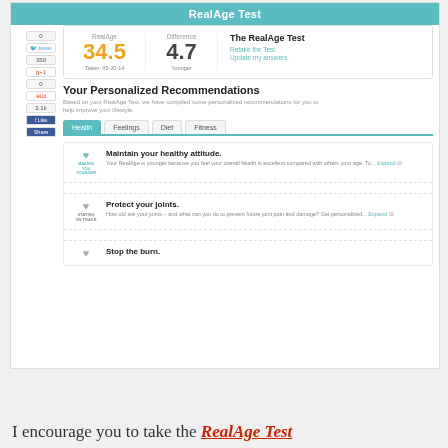RealAge Test
0 | tweet | 350 | g+1 | 0 | Up | 3.1k | f like | Share
RealAge: 34.5 | Difference: 4.7 | Taken: 05-20-14 | Younger
The RealAge Test
Retake the Test
Update my answers
Your Personalized Recommendations
Based on your RealAge Test, we have compiled some personalized recommendations for you to help improve your lifestyle.
Health | Feelings | Diet | Fitness
Maintain your healthy attitude.
Your RealAge is younger because you feel your overall health is excellent compared with others your age. To... Expand
Protect your joints.
How old are your joints – and what can you do to prevent future joint pain and damage? Get personalized... Expand
Stop the burn.
I encourage you to take the RealAge Test